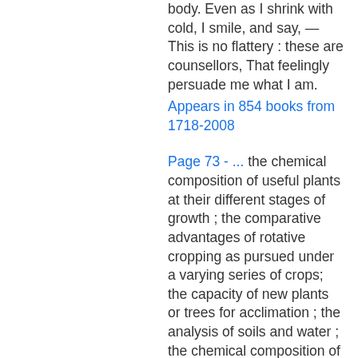body. Even as I shrink with cold, I smile, and say, — This is no flattery : these are counsellors, That feelingly persuade me what I am.
Appears in 854 books from 1718-2008
Page 73 - ... the chemical composition of useful plants at their different stages of growth ; the comparative advantages of rotative cropping as pursued under a varying series of crops; the capacity of new plants or trees for acclimation ; the analysis of soils and water ; the chemical composition of manures, natural or artificial, with